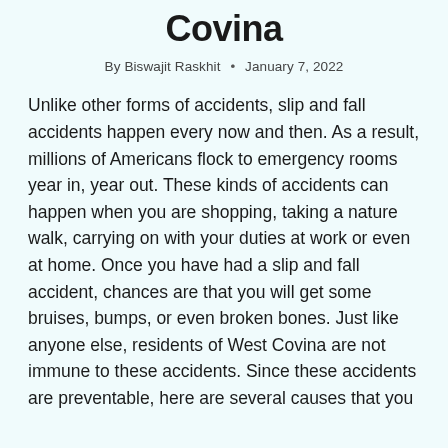Covina
By Biswajit Raskhit • January 7, 2022
Unlike other forms of accidents, slip and fall accidents happen every now and then. As a result, millions of Americans flock to emergency rooms year in, year out. These kinds of accidents can happen when you are shopping, taking a nature walk, carrying on with your duties at work or even at home. Once you have had a slip and fall accident, chances are that you will get some bruises, bumps, or even broken bones. Just like anyone else, residents of West Covina are not immune to these accidents. Since these accidents are preventable, here are several causes that you